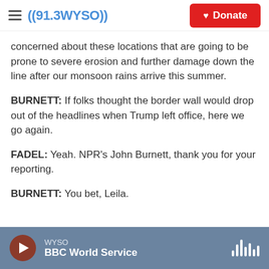((91.3 WYSO)) Donate
concerned about these locations that are going to be prone to severe erosion and further damage down the line after our monsoon rains arrive this summer.
BURNETT: If folks thought the border wall would drop out of the headlines when Trump left office, here we go again.
FADEL: Yeah. NPR's John Burnett, thank you for your reporting.
BURNETT: You bet, Leila.
WYSO BBC World Service